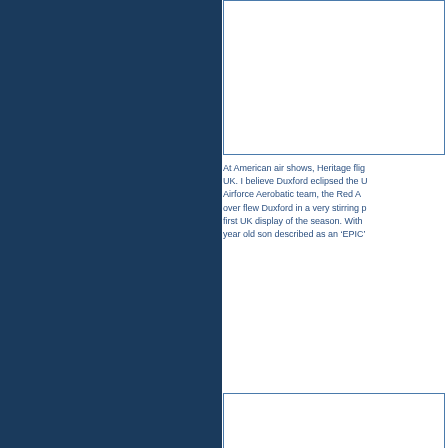[Figure (photo): Photo placeholder box at top right, bordered rectangle]
At American air shows, Heritage flig... UK. I believe Duxford eclipsed the U... Airforce Aerobatic team, the Red A... over flew Duxford in a very stirring p... first UK display of the season. With ... year old son described as an ‘EPIC’...
[Figure (photo): Photo placeholder box in middle right, bordered rectangle]
Congratulations to all the pilots, cre... say I was not happy with was the fa... air museum. Luckily it bounced on... concrete!!!!!
[Figure (photo): Photo placeholder box at bottom right, bordered rectangle]